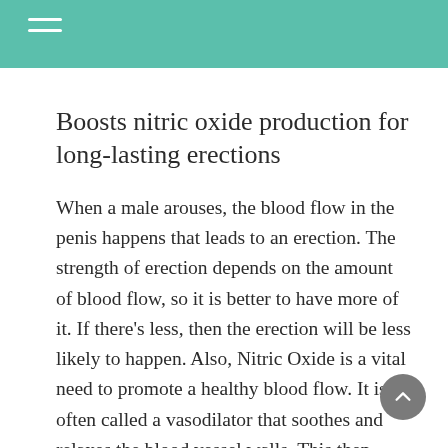Boosts nitric oxide production for long-lasting erections
When a male arouses, the blood flow in the penis happens that leads to an erection. The strength of erection depends on the amount of blood flow, so it is better to have more of it. If there’s less, then the erection will be less likely to happen. Also, Nitric Oxide is a vital need to promote a healthy blood flow. It is often called a vasodilator that soothes and relaxes the blood vessel walls. This then